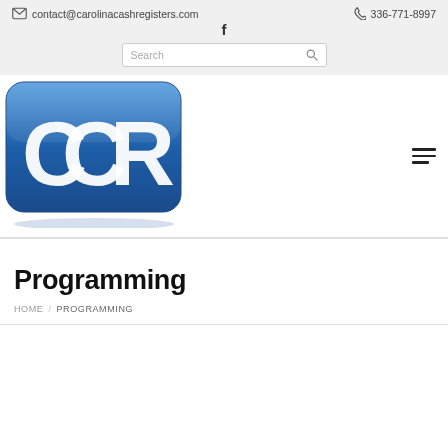contact@carolinacashregisters.com   336-771-8997
[Figure (logo): CCR (Carolina Cash Registers) logo — blue rounded rectangle with white CCR letters]
Programming
HOME / PROGRAMMING